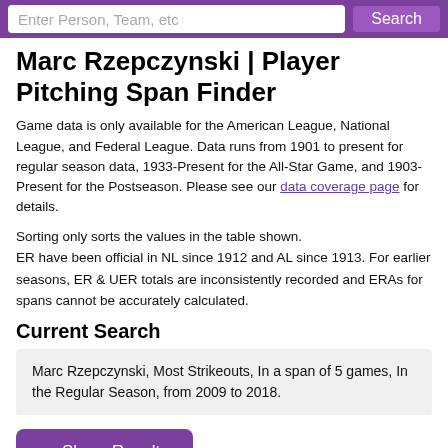Enter Person, Team, etc   Search
Marc Rzepczynski | Player Pitching Span Finder
Game data is only available for the American League, National League, and Federal League. Data runs from 1901 to present for regular season data, 1933-Present for the All-Star Game, and 1903-Present for the Postseason. Please see our data coverage page for details.
Sorting only sorts the values in the table shown.
ER have been official in NL since 1912 and AL since 1913. For earlier seasons, ER & UER totals are inconsistently recorded and ERAs for spans cannot be accurately calculated.
Current Search
Marc Rzepczynski, Most Strikeouts, In a span of 5 games, In the Regular Season, from 2009 to 2018.
➨ Share Results
Search Criteria